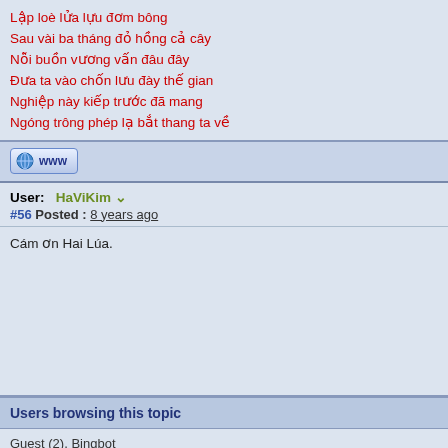Lập loè lửa lựu đơm bông
Sau vài ba tháng đỏ hồng cả cây
Nỗi buồn vương vấn đâu đây
Đưa ta vào chốn lưu đày thế gian
Nghiệp này kiếp trước đã mang
Ngóng trông phép lạ bắt thang ta về
[Figure (other): WWW button/link icon]
User: HaViKim
#56 Posted : 8 years ago
Cám ơn Hai Lúa.
Users browsing this topic
Guest (2), Bingbot
6 Pages  «  <  4  5  6
TKaraoke Forum » NHẠC KARAOKE » Songs Listing » Miscellaneous Karaoke » Kmp3 collection songs list
--- Miscellaneous Karaoke   Forum Jump
You cannot post new topics in this forum.